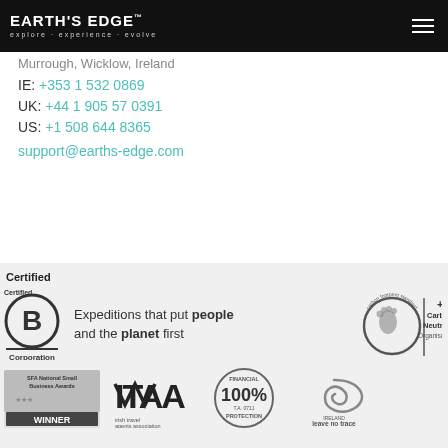EARTH'S EDGE™ explore · experience · evolve
Murrough, Wicklow, Ireland
IE: +353 1 532 0869
UK: +44 1 905 57 0391
US: +1 508 644 8365
support@earths-edge.com
[Figure (logo): Certified B Corporation logo]
Expeditions that put people and the planet first
[Figure (logo): Carbon Neutral Organisation carbon footprint standard badge]
[Figure (logo): SFA National Small Business Awards Winner badge]
[Figure (logo): ITAA Irish Travel Agents Association logo]
[Figure (logo): Financial Protection 100% T.A. 0711 stamp logo]
[Figure (logo): Leave No Trace Ireland logo]